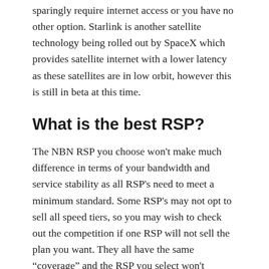sparingly require internet access or you have no other option. Starlink is another satellite technology being rolled out by SpaceX which provides satellite internet with a lower latency as these satellites are in low orbit, however this is still in beta at this time.
What is the best RSP?
The NBN RSP you choose won't make much difference in terms of your bandwidth and service stability as all RSP's need to meet a minimum standard. Some RSP's may not opt to sell all speed tiers, so you may wish to check out the competition if one RSP will not sell the plan you want. They all have the same “coverage” and the RSP you select won't change the technology used to connect you to the NBN network.
Some RSP's may oversell their network more than others that may cause congestion during peak times but most users